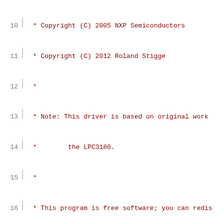Source code listing lines 10-31 of a Linux kernel driver file showing copyright notice and GPL license header
10   * Copyright (C) 2005 NXP Semiconductors
11   * Copyright (C) 2012 Roland Stigge
12   *
13   * Note: This driver is based on original work
14   *        the LPC3180.
15   *
16   * This program is free software; you can redis
17   * it under the terms of the GNU General Public
18   * the Free Software Foundation; either version
19   * (at your option) any later version.
20   *
21   * This program is distributed in the hope that
22   * but WITHOUT ANY WARRANTY; without even the i
23   * MERCHANTABILITY or FITNESS FOR A PARTICULAR
24   * GNU General Public License for more details.
25   *
26   * You should have received a copy of the GNU G
27   * along with this program; if not, write to th
28   * Foundation, Inc., 59 Temple Place, Suite 330
29   */
30
31   #include <linux/clk.h>